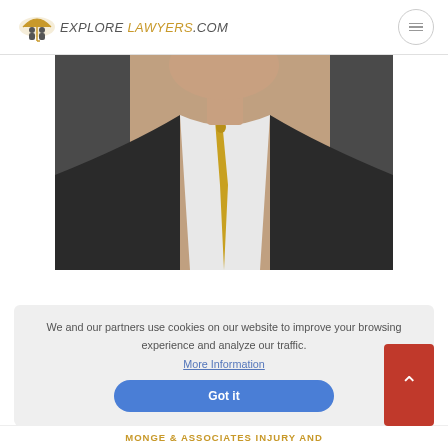EXPLORE LAWYERS.COM
[Figure (photo): Professional headshot of a male lawyer wearing a black suit, white shirt, and gold/yellow tie, photographed from chest up against a dark background.]
walton law llc (focused on social security & disability law..., workers compensation & disability...), law office located at 22811 us highway 98, suite 6, fairhope, al 36532.
We and our partners use cookies on our website to improve your browsing experience and analyze our traffic.
More Information
Got it
MONGE & ASSOCIATES INJURY AND